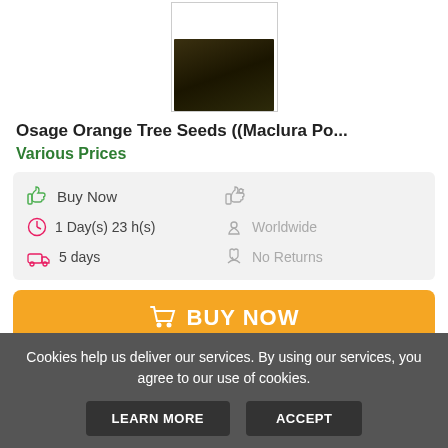[Figure (photo): Product photo of Osage Orange Tree Seeds in a dark container, shown cropped at top]
Osage Orange Tree Seeds ((Maclura Po...
Various Prices
Buy Now
1 Day(s) 23 h(s)
5 days
Worldwide
No Returns
BUY NOW
SEE MORE MACLURA DRIED HEDGE APPLES (OSAGE ORANGE) ANTIOXIDANT HERBAL SUPPLEMENT CAPSULE, 100 PERCENT
Cookies help us deliver our services. By using our services, you agree to our use of cookies.
LEARN MORE
ACCEPT